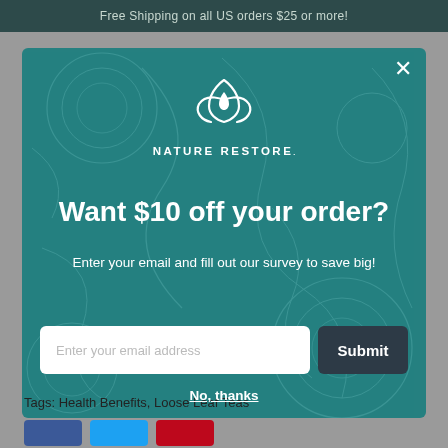Free Shipping on all US orders $25 or more!
[Figure (screenshot): Nature Restore popup modal on teal background with decorative line art pattern. Contains logo, headline 'Want $10 off your order?', subtext, email input field, Submit button, and 'No, thanks' link.]
Tags: Health Benefits, Loose Leaf Teas